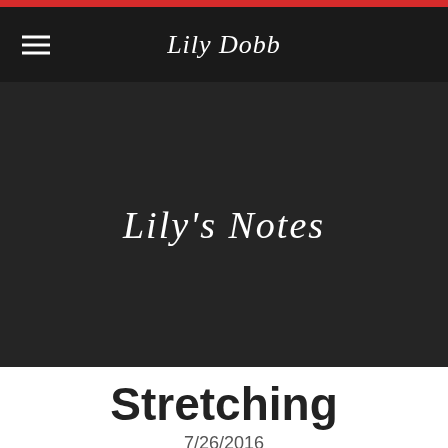Lily Dobb
Lily's Notes
Stretching
7/26/2016